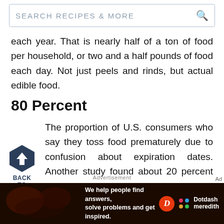SEARCH RECIPES & MORE
each year. That is nearly half of a ton of food per household, or two and a half pounds of food each day. Not just peels and rinds, but actual edible food.
80 Percent
The proportion of U.S. consumers who say they toss food prematurely due to confusion about expiration dates. Another study found about 20 percent of household food waste is the result of date label confusion.[1]
[Figure (other): Back to top navigation button — dark hexagon with upward arrow, labeled BACK TO TOP]
Advertisement
[Figure (other): Dotdash Meredith advertisement banner — dark background with text 'We help people find answers, solve problems and get inspired.' with Dotdash Meredith logo]